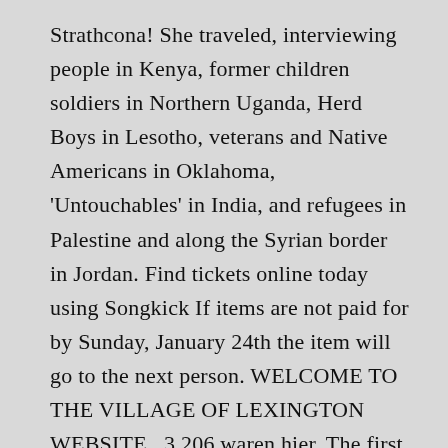Strathcona! She traveled, interviewing people in Kenya, former children soldiers in Northern Uganda, Herd Boys in Lesotho, veterans and Native Americans in Oklahoma, 'Untouchables' in India, and refugees in Palestine and along the Syrian border in Jordan. Find tickets online today using Songkick If items are not paid for by Sunday, January 24th the item will go to the next person. WELCOME TO THE VILLAGE OF LEXINGTON WEBSITE . 3.206 waren hier. The first person to comment sold will be contacted by Heidi Dove with purchasing instructions. Bridge: With praise on our lips, the word in our hearts, Wild Vlees – When